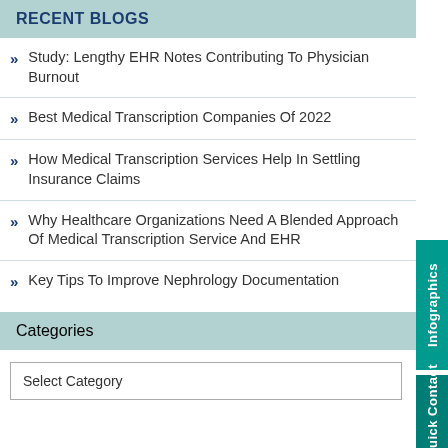RECENT BLOGS
Study: Lengthy EHR Notes Contributing To Physician Burnout
Best Medical Transcription Companies Of 2022
How Medical Transcription Services Help In Settling Insurance Claims
Why Healthcare Organizations Need A Blended Approach Of Medical Transcription Service And EHR
Key Tips To Improve Nephrology Documentation
CATEGORIES
Select Category